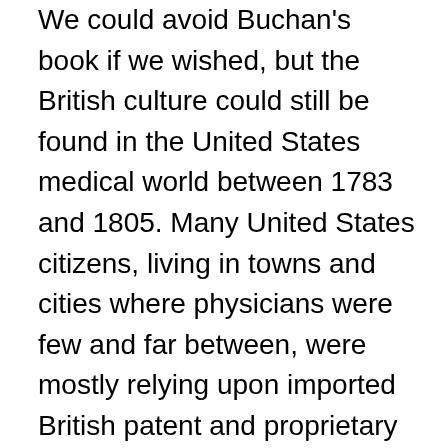We could avoid Buchan's book if we wished, but the British culture could still be found in the United States medical world between 1783 and 1805. Many United States citizens, living in towns and cities where physicians were few and far between, were mostly relying upon imported British patent and proprietary medicines. That which the Brits would not buy, such as those items they termed quackery, United States citizens bought by the case. British pamphlets and books, as well as translations of other medical works from other countries like France and Spain, also became a part of the United States retail medical industry. With just a few medical schools, and minimal regulations out there to control the medical industry, United States citizens became a most important consumer population for British import dealers, with the least knowledgeable and least trained of these people the most gullible at times and the main reasons these